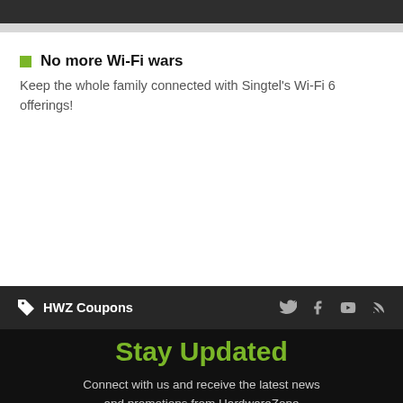No more Wi-Fi wars — Keep the whole family connected with Singtel's Wi-Fi 6 offerings!
HWZ Coupons
Stay Updated
Connect with us and receive the latest news and promotions from HardwareZone and more!
Enter Email Address
I would like to receive marketing materials from SPH Media, its subsidiaries and partners. By signing up, you indicate that you have read and agreed with our Privacy Policy